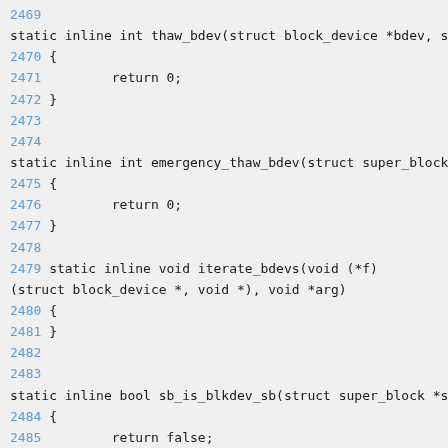2469 static inline int thaw_bdev(struct block_device *bdev, s
2470 {
2471         return 0;
2472 }
2473
2474
static inline int emergency_thaw_bdev(struct super_block
2475 {
2476         return 0;
2477 }
2478
2479 static inline void iterate_bdevs(void (*f)
(struct block_device *, void *), void *arg)
2480 {
2481 }
2482
2483
static inline bool sb_is_blkdev_sb(struct super_block *s
2484 {
2485         return false;
2486 }
2487 #endif
2488
extern int sync_filesystem(struct super_block *);